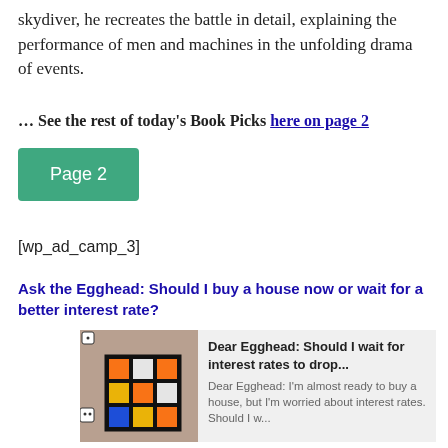skydiver, he recreates the battle in detail, explaining the performance of men and machines in the unfolding drama of events.
… See the rest of today's Book Picks here on page 2
Page 2
[wp_ad_camp_3]
Ask the Egghead: Should I buy a house now or wait for a better interest rate?
[Figure (screenshot): Preview card showing a Rubik's cube image with text: 'Dear Egghead: Should I wait for interest rates to drop... Dear Egghead: I'm almost ready to buy a house, but I'm worried about interest rates. Should I w...']